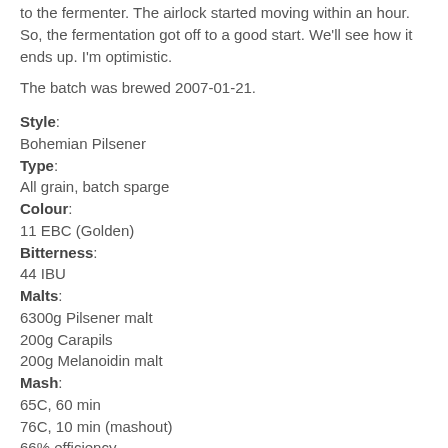to the fermenter. The airlock started moving within an hour. So, the fermentation got off to a good start. We'll see how it ends up. I'm optimistic.
The batch was brewed 2007-01-21.
Style: Bohemian Pilsener
Type: All grain, batch sparge
Colour: 11 EBC (Golden)
Bitterness: 44 IBU
Malts: 6300g Pilsener malt, 200g Carapils, 200g Melanoidin malt
Mash: 65C, 60 min; 76C, 10 min (mashout); 66% efficiency